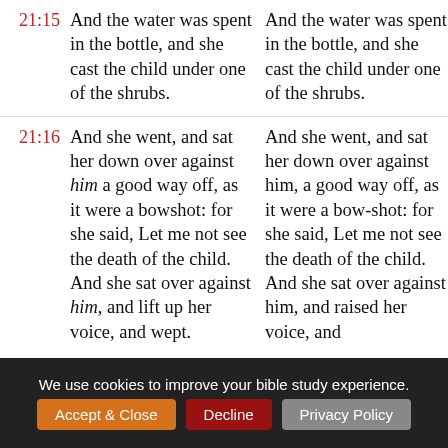21:15 And the water was spent in the bottle, and she cast the child under one of the shrubs.
And the water was spent in the bottle, and she cast the child under one of the shrubs.
21:16 And she went, and sat her down over against him a good way off, as it were a bowshot: for she said, Let me not see the death of the child. And she sat over against him, and lift up her voice, and wept.
And she went, and sat her down over against him, a good way off, as it were a bow-shot: for she said, Let me not see the death of the child. And she sat over against him, and raised her voice, and
We use cookies to improve your bible study experience. Accept & Close   Decline   Privacy Policy